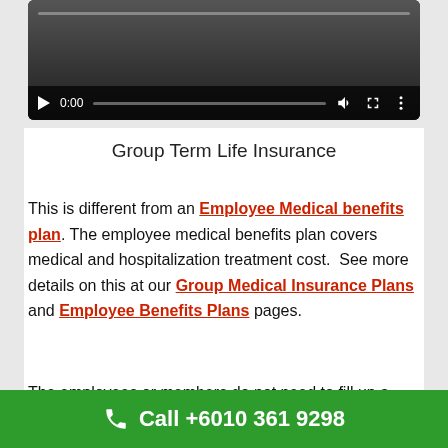[Figure (screenshot): Video player with dark background, progress bar at top, and controls bar at bottom showing play button, 0:00 timestamp, progress bar, volume icon, fullscreen icon, and menu icon]
Group Term Life Insurance
This is different from an Employee Medical benefits plan. The employee medical benefits plan covers medical and hospitalization treatment cost.  See more details on this at our Group Medical Insurance Plans and Employee Benefits Plans pages.
The employees or members do not need to fill up a personal health declaration form.  This form is
Call +6010 361 9298